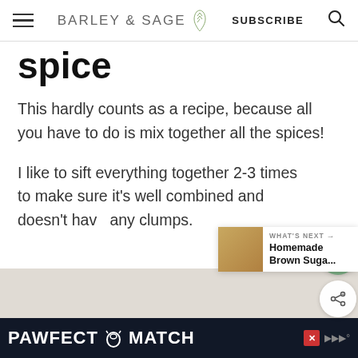BARLEY & SAGE | SUBSCRIBE
spice
This hardly counts as a recipe, because all you have to do is mix together all the spices!
I like to sift everything together 2-3 times to make sure it's well combined and doesn't have any clumps.
[Figure (screenshot): What's Next widget showing Homemade Brown Suga... thumbnail]
[Figure (photo): Partial food/recipe photo at bottom of page]
[Figure (infographic): PAWFECT MATCH advertisement banner at bottom with cat illustration]